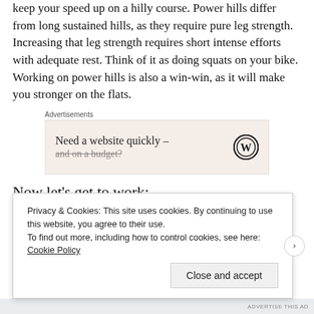keep your speed up on a hilly course. Power hills differ from long sustained hills, as they require pure leg strength. Increasing that leg strength requires short intense efforts with adequate rest. Think of it as doing squats on your bike. Working on power hills is also a win-win, as it will make you stronger on the flats.
[Figure (other): Advertisement box with pink/beige background showing 'Need a website quickly – and on a budget?' text with WordPress logo on the right. Labeled 'Advertisements' above.]
Now let's get to work:
Power Hills:
Privacy & Cookies: This site uses cookies. By continuing to use this website, you agree to their use. To find out more, including how to control cookies, see here: Cookie Policy
Close and accept